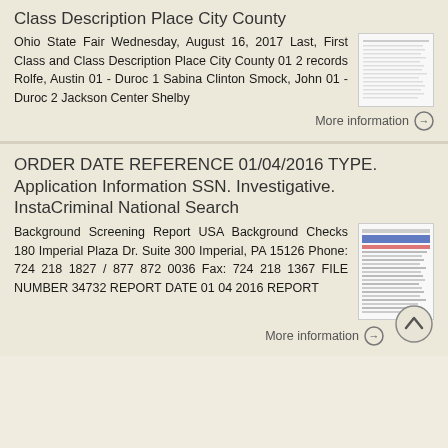Class Description Place City County
Ohio State Fair Wednesday, August 16, 2017 Last, First Class and Class Description Place City County 01 2 records Rolfe, Austin 01 - Duroc 1 Sabina Clinton Smock, John 01 - Duroc 2 Jackson Center Shelby
[Figure (screenshot): Thumbnail of a document with tabular data]
More information →
ORDER DATE REFERENCE 01/04/2016 TYPE. Application Information SSN. Investigative. InstaCriminal National Search
Background Screening Report USA Background Checks 180 Imperial Plaza Dr. Suite 300 Imperial, PA 15126 Phone: 724 218 1827 / 877 872 0036 Fax: 724 218 1367 FILE NUMBER 34732 REPORT DATE 01 04 2016 REPORT
[Figure (screenshot): Thumbnail of a background screening report document]
More information →